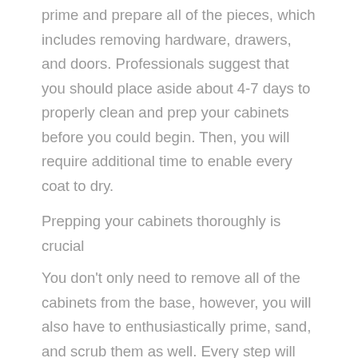prime and prepare all of the pieces, which includes removing hardware, drawers, and doors. Professionals suggest that you should place aside about 4-7 days to properly clean and prep your cabinets before you could begin. Then, you will require additional time to enable every coat to dry.
Prepping your cabinets thoroughly is crucial
You don't only need to remove all of the cabinets from the base, however, you will also have to enthusiastically prime, sand, and scrub them as well. Every step will result to achieve the greatest potential adhesion between your new paint and your cabinets. Hence, this step is actually a must.
You should keep everything organized